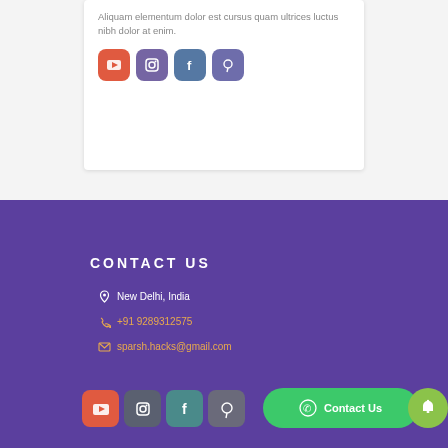Aliquam elementum dolor est cursus quam ultrices luctus nibh dolor at enim.
[Figure (illustration): Social media icons: YouTube (orange), Instagram (purple), Facebook (blue-grey), Pinterest (purple)]
CONTACT US
New Delhi, India
+91 9289312575
sparsh.hacks@gmail.com
[Figure (illustration): Social media icons bottom: YouTube (orange), Instagram (grey), Facebook (teal), Pinterest (grey)]
Contact Us